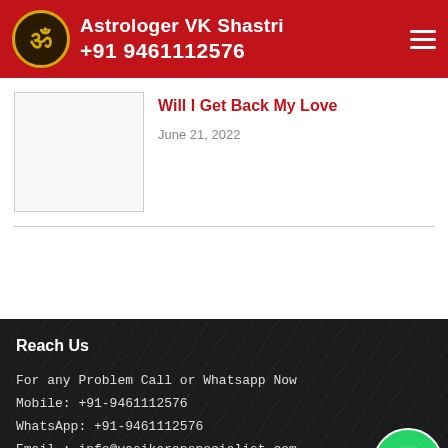Astrologer VK Shastri +91 9461112576
Will I Get Back My Love
June 21, 2022
Reach Us
For any Problem Call or Whatsapp Now
Mobile: +91-9461112576
WhatsApp: +91-9461112576
Email : info@vasikaranspecialist.com